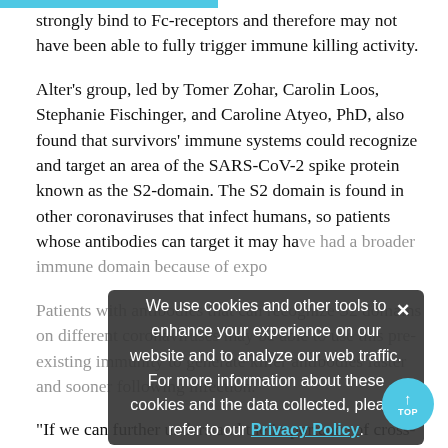strongly bind to Fc-receptors and therefore may not have been able to fully trigger immune killing activity.

Alter's group, led by Tomer Zohar, Carolin Loos, Stephanie Fischinger, and Caroline Atyeo, PhD, also found that survivors' immune systems could recognize and target an area of the SARS-CoV-2 spike protein known as the S2-domain. The S2 domain is found in other coronaviruses that infect humans, so patients whose antibodies can target it may have had a broader immune domain because of expo...

Patients with antibodies that can recognize S2 domains on different coronaviruses may be able to use this pre-existing immunity to generate killer antibodies faster and sooner following infection.

"If we can further understand the importance of cross-
[Figure (other): Cookie consent modal overlay with dark semi-transparent background, displaying text: 'We use cookies and other tools to enhance your experience on our website and to analyze our web traffic. For more information about these cookies and the data collected, please refer to our Privacy Policy.' with a close button (×) in top right corner.]